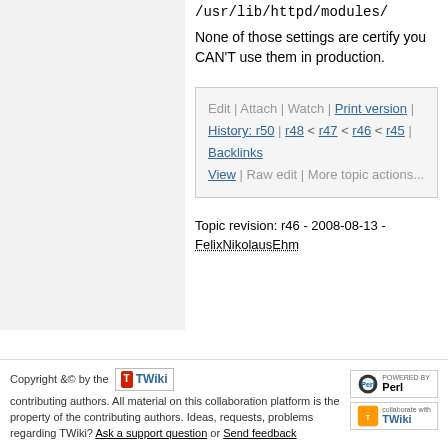/usr/lib/httpd/modules/
None of those settings are certify you CAN'T use them in production.
Edit | Attach | Watch | Print version | History: r50 | r48 < r47 < r46 < r45 | Backlinks | View | Raw edit | More topic actions...
Topic revision: r46 - 2008-08-13 - FelixNikolausEhm
Copyright &© by the contributing authors. All material on this collaboration platform is the property of the contributing authors. Ideas, requests, problems regarding TWiki? Ask a support question or Send feedback